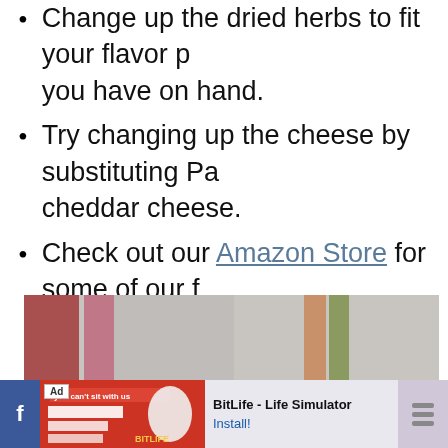Change up the dried herbs to fit your flavor preferences or use what you have on hand.
Try changing up the cheese by substituting Parmesan with cheddar cheese.
Check out our Amazon Store for some of our favorite ingredients and kitchen items.
[Figure (photo): Close-up photo of a striped textile/tablecloth in red, pink, orange, and green stripes, with the edge of a white bowl with olive green floral pattern visible in the lower right]
[Figure (infographic): Advertisement bar: Facebook share button on left, BitLife Life Simulator ad with red banner image, app title and Install button]